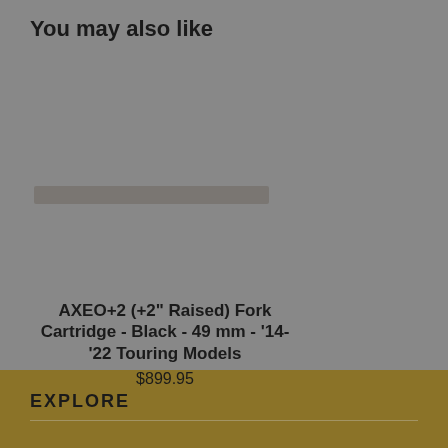You may also like
[Figure (photo): Product image area showing a motorcycle fork cartridge product, with a blurred/redacted image overlay bar]
AXEO+2 (+2" Raised) Fork Cartridge - Black - 49 mm - '14-'22 Touring Models
$899.95
EXPLORE